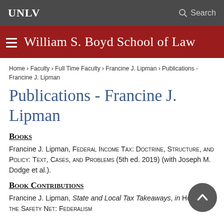UNLV   Search
William S. Boyd School of Law
Home › Faculty › Full Time Faculty › Francine J. Lipman › Publications - Francine J. Lipman
Publications - Francine J. Lipman
Books
Francine J. Lipman, Federal Income Tax: Doctrine, Structure, and Policy: Text, Cases, and Problems (5th ed. 2019) (with Joseph M. Dodge et al.).
Book Contributions
Francine J. Lipman, State and Local Tax Takeaways, in Holes in the Safety Net: Federalism